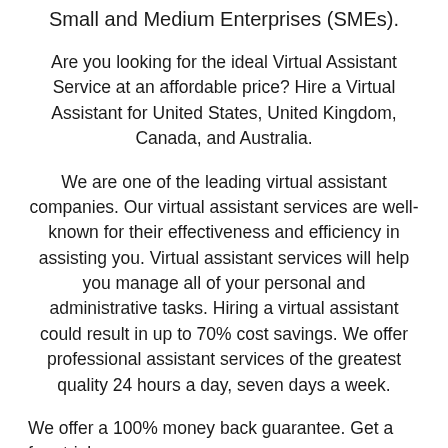Small and Medium Enterprises (SMEs).
Are you looking for the ideal Virtual Assistant Service at an affordable price? Hire a Virtual Assistant for United States, United Kingdom, Canada, and Australia.
We are one of the leading virtual assistant companies. Our virtual assistant services are well-known for their effectiveness and efficiency in assisting you. Virtual assistant services will help you manage all of your personal and administrative tasks. Hiring a virtual assistant could result in up to 70% cost savings. We offer professional assistant services of the greatest quality 24 hours a day, seven days a week.
We offer a 100% money back guarantee. Get a free trial.